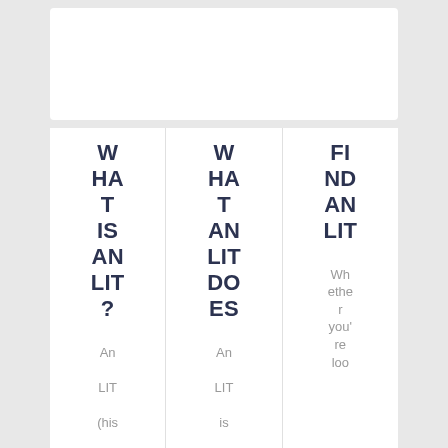[Figure (other): White card / blank top panel]
WHAT IS AN LIT?
WHAT AN LIT DOES
FIND AN LIT
An LIT (his...
An LIT is...
Whether you're loo...